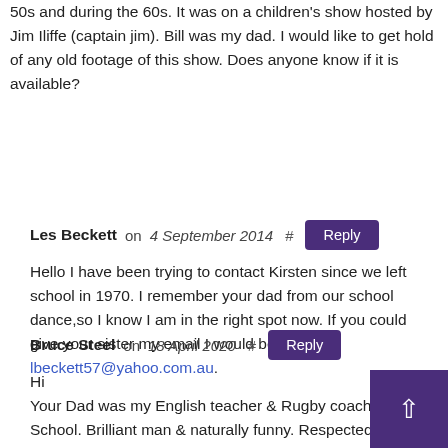50s and during the 60s. It was on a children's show hosted by Jim Iliffe (captain jim). Bill was my dad. I would like to get hold of any old footage of this show. Does anyone know if it is available?
Les Beckett on 4 September 2014  #  Reply
Hello I have been trying to contact Kirsten since we left school in 1970. I remember your dad from our school dance,so I know I am in the right spot now. If you could give your sister my email I would be thankful. lbeckett57@yahoo.com.au.
Bruce Steel on 18 April 2020  #  Reply
Hi
Your Dad was my English teacher & Rugby coach at School. Brilliant man & naturally funny. Respected by all kids. We loved his Scottish accent too. I too would love to see Benny The Bear episodes.